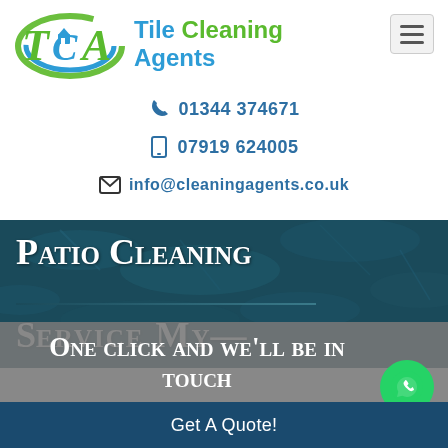[Figure (logo): TCA Tile Cleaning Agents logo with green and blue stylized letters TCA and blue text 'Tile Cleaning Agents']
📞 01344 374671
📱 07919 624005
✉ info@cleaningagents.co.uk
[Figure (photo): Dark teal/blue background hero image with plant/foliage texture overlay. Text reads 'Patio Cleaning Service M...' in white serif small-caps font]
One click and we'll be in touch
Get A Quote!